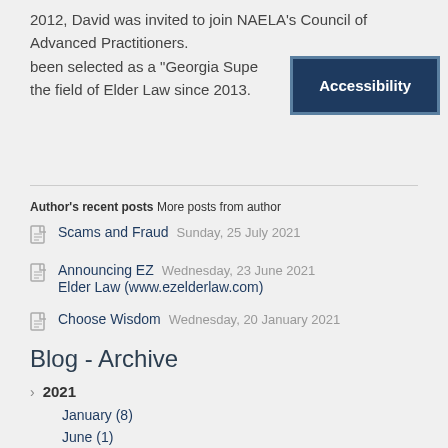2012, David was invited to join NAELA's Council of Advanced Practitioners. been selected as a "Georgia Supe the field of Elder Law since 2013.
[Figure (screenshot): Accessibility button overlay with dark navy background and white text reading 'Accessibility', with a light blue border]
Author's recent posts More posts from author
Scams and Fraud   Sunday, 25 July 2021
Announcing EZ   Wednesday, 23 June 2021
Elder Law (www.ezelderlaw.com)
Choose Wisdom   Wednesday, 20 January 2021
Blog - Archive
2021
January (8)
June (1)